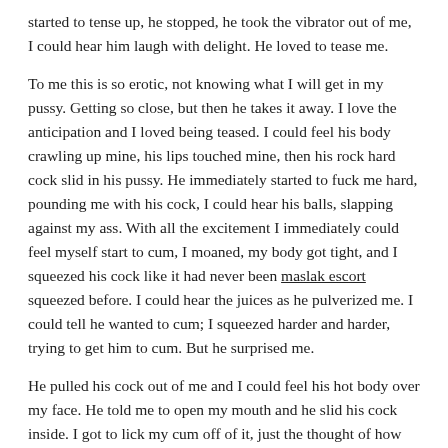started to tense up, he stopped, he took the vibrator out of me, I could hear him laugh with delight. He loved to tease me.
To me this is so erotic, not knowing what I will get in my pussy. Getting so close, but then he takes it away. I love the anticipation and I loved being teased. I could feel his body crawling up mine, his lips touched mine, then his rock hard cock slid in his pussy. He immediately started to fuck me hard, pounding me with his cock, I could hear his balls, slapping against my ass. With all the excitement I immediately could feel myself start to cum, I moaned, my body got tight, and I squeezed his cock like it had never been maslak escort squeezed before. I could hear the juices as he pulverized me. I could tell he wanted to cum; I squeezed harder and harder, trying to get him to cum. But he surprised me.
He pulled his cock out of me and I could feel his hot body over my face. He told me to open my mouth and he slid his cock inside. I got to lick my cum off of it, just the thought of how erotic it was, my body started to tense up again and I